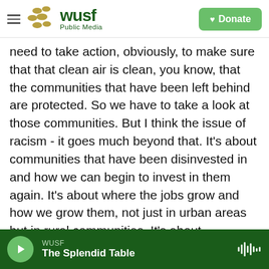WUSF Public Media | Donate
need to take action, obviously, to make sure that that clean air is clean, you know, that the communities that have been left behind are protected. So we have to take a look at those communities. But I think the issue of racism - it goes much beyond that. It's about communities that have been disinvested in and how we can begin to invest in them again. It's about where the jobs grow and how we grow them, not just in urban areas but in rural communities. It's about recognizing that the shift from coal to both oil and gas and now to clean energy is the way to go in terms of our finance and our health and our
WUSF | The Splendid Table